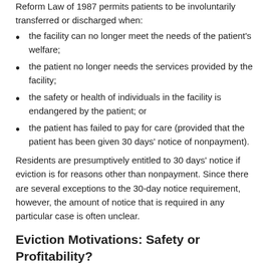Reform Law of 1987 permits patients to be involuntarily transferred or discharged when:
the facility can no longer meet the needs of the patient's welfare;
the patient no longer needs the services provided by the facility;
the safety or health of individuals in the facility is endangered by the patient; or
the patient has failed to pay for care (provided that the patient has been given 30 days' notice of nonpayment).
Residents are presumptively entitled to 30 days' notice if eviction is for reasons other than nonpayment. Since there are several exceptions to the 30-day notice requirement, however, the amount of notice that is required in any particular case is often unclear.
Eviction Motivations: Safety or Profitability?
Nursing homes must attempt to alleviate disruptive or